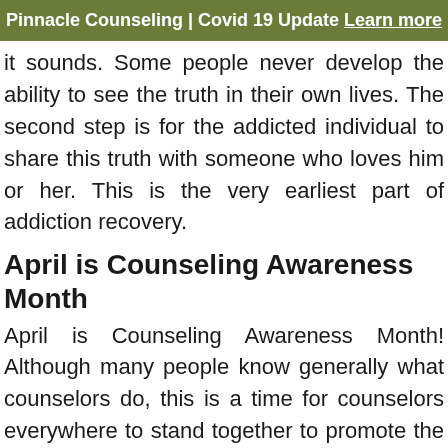Pinnacle Counseling | Covid 19 Update Learn more
it sounds. Some people never develop the ability to see the truth in their own lives. The second step is for the addicted individual to share this truth with someone who loves him or her. This is the very earliest part of addiction recovery.
April is Counseling Awareness Month
April is Counseling Awareness Month! Although many people know generally what counselors do, this is a time for counselors everywhere to stand together to promote the use of counseling services. We do this by reaching out to clients, readers, social media outlets,